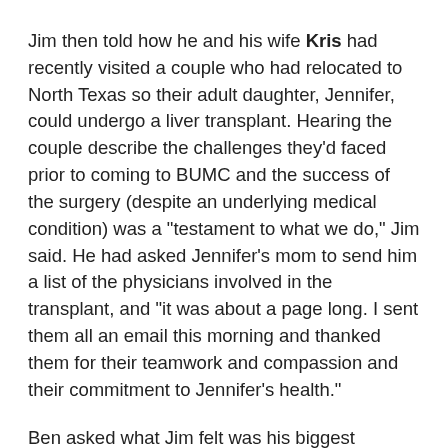Jim then told how he and his wife Kris had recently visited a couple who had relocated to North Texas so their adult daughter, Jennifer, could undergo a liver transplant. Hearing the couple describe the challenges they'd faced prior to coming to BUMC and the success of the surgery (despite an underlying medical condition) was a "testament to what we do," Jim said. He had asked Jennifer's mom to send him a list of the physicians involved in the transplant, and "it was about a page long. I sent them all an email this morning and thanked them for their teamwork and compassion and their commitment to Jennifer's health."
Ben asked what Jim felt was his biggest accomplishment. Jim recalled how when he arrived, the merger of Baylor and Scott and White had taken place